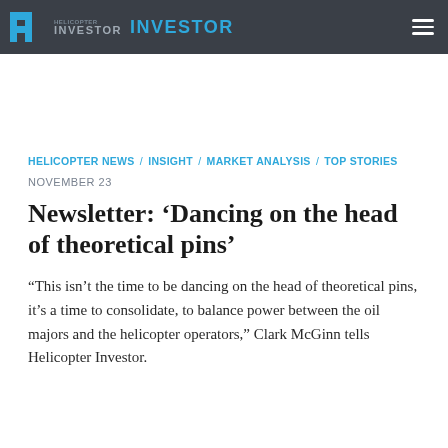Helicopter Investor INVESTOR
HELICOPTER NEWS / INSIGHT / MARKET ANALYSIS / TOP STORIES
NOVEMBER 23
Newsletter: ‘Dancing on the head of theoretical pins’
“This isn’t the time to be dancing on the head of theoretical pins, it’s a time to consolidate, to balance power between the oil majors and the helicopter operators,” Clark McGinn tells Helicopter Investor.